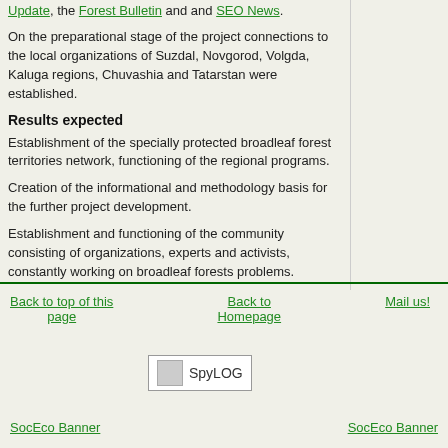Update, the Forest Bulletin and and SEO News.
On the preparational stage of the project connections to the local organizations of Suzdal, Novgorod, Volgda, Kaluga regions, Chuvashia and Tatarstan were established.
Results expected
Establishment of the specially protected broadleaf forest territories network, functioning of the regional programs.
Creation of the informational and methodology basis for the further project development.
Establishment and functioning of the community consisting of organizations, experts and activists, constantly working on broadleaf forests problems.
Back to top of this page | Back to Homepage | Mail us!
[Figure (logo): SpyLOG banner with small image placeholder]
SocEco Banner | SocEco Banner